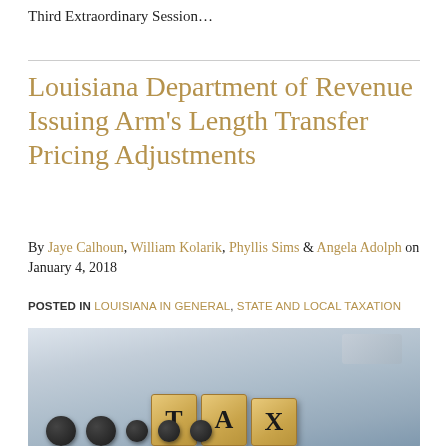Third Extraordinary Session…
Louisiana Department of Revenue Issuing Arm's Length Transfer Pricing Adjustments
By Jaye Calhoun, William Kolarik, Phyllis Sims & Angela Adolph on January 4, 2018
POSTED IN LOUISIANA IN GENERAL, STATE AND LOCAL TAXATION
[Figure (photo): Scrabble-style letter tiles spelling TAX resting on a calculator keyboard, with a blurred gray background]